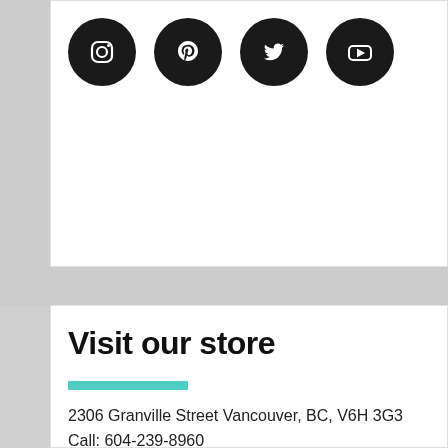[Figure (illustration): Four social media icon circles (Instagram, Pinterest, Twitter, YouTube) on a white card background with light gray surrounding area]
Visit our store
2306 Granville Street Vancouver, BC, V6H 3G3
Call: 604-239-8960
Fax: 604-736-2925